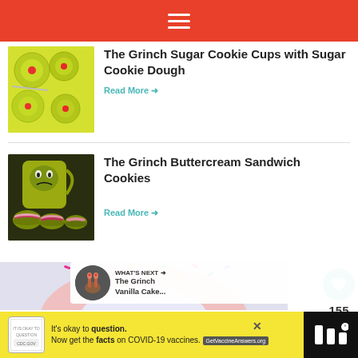≡
The Grinch Sugar Cookie Cups with Sugar Cookie Dough
Read More →
The Grinch Buttercream Sandwich Cookies
Read More →
155
WHAT'S NEXT → The Grinch Vanilla Cake...
[Figure (photo): Green Grinch sugar cookie cups with red hearts on white background]
[Figure (photo): Grinch buttercream sandwich cookies with green Grinch mug]
[Figure (photo): Colorful sprinkled dessert partially visible]
[Figure (photo): Grinch Vanilla Cake thumbnail]
It's okay to question. Now get the facts on COVID-19 vaccines. GetVaccineAnswers.org